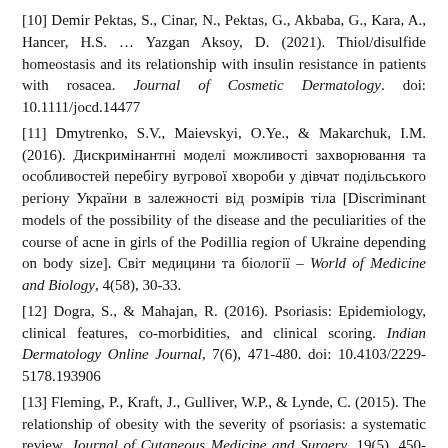[10] Demir Pektas, S., Cinar, N., Pektas, G., Akbaba, G., Kara, A., Hancer, H.S. … Yazgan Aksoy, D. (2021). Thiol/disulfide homeostasis and its relationship with insulin resistance in patients with rosacea. Journal of Cosmetic Dermatology. doi: 10.1111/jocd.14477
[11] Dmytrenko, S.V., Maievskyi, O.Ye., & Makarchuk, I.M. (2016). Дискримінантні моделі можливості захворювання та особливостей перебігу вугрової хвороби у дівчат подільського регіону України в залежності від розмірів тіла [Discriminant models of the possibility of the disease and the peculiarities of the course of acne in girls of the Podillia region of Ukraine depending on body size]. Світ медицини та біології – World of Medicine and Biology, 4(58), 30-33.
[12] Dogra, S., & Mahajan, R. (2016). Psoriasis: Epidemiology, clinical features, co-morbidities, and clinical scoring. Indian Dermatology Online Journal, 7(6), 471-480. doi: 10.4103/2229-5178.193906
[13] Fleming, P., Kraft, J., Gulliver, W.P., & Lynde, C. (2015). The relationship of obesity with the severity of psoriasis: a systematic review. Journal of Cutaneous Medicine and Surgery, 19(5), 450-456. doi: 10.1177/1203475415586332
[14] Fredriksson, T., & Pettersson, U. (1978). Severe psoriasis – oral therapy with a new retinoid. Dermatology, 157(4), 238-